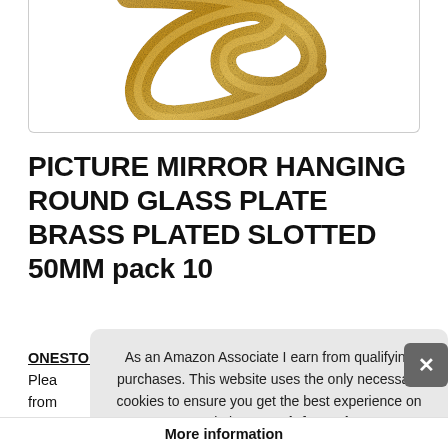[Figure (photo): Partial view of a brass-plated round glass plate picture hanging bracket, showing the golden metallic S-curve shape against a white background, inside a rounded-rectangle bordered box.]
PICTURE MIRROR HANGING ROUND GLASS PLATE BRASS PLATED SLOTTED 50MM pack 10
ONESTOPDIY.COM - Picture hanging bracket. Glass plate Plea… from… as w…
As an Amazon Associate I earn from qualifying purchases. This website uses the only necessary cookies to ensure you get the best experience on our website. More information
More information